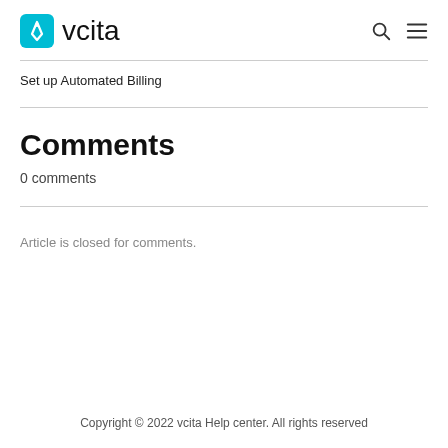vcita
Set up Automated Billing
Comments
0 comments
Article is closed for comments.
Copyright © 2022 vcita Help center. All rights reserved